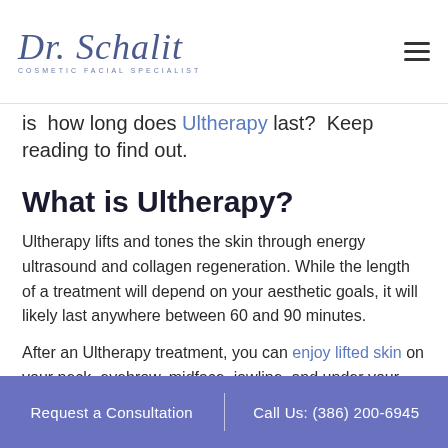Dr. Schalit — Cosmetic Facial Specialist
is  how long does Ultherapy last?  Keep reading to find out.
What is Ultherapy?
Ultherapy lifts and tones the skin through energy ultrasound and collagen regeneration. While the length of a treatment will depend on your aesthetic goals, it will likely last anywhere between 60 and 90 minutes.
After an Ultherapy treatment, you can enjoy lifted skin on your neck, eyebrow, midface, jawline, and under your chin. You can also reduce the appearance of fine lines and wrinkles on your
Request a Consultation   |   Call Us: (386) 200-6945